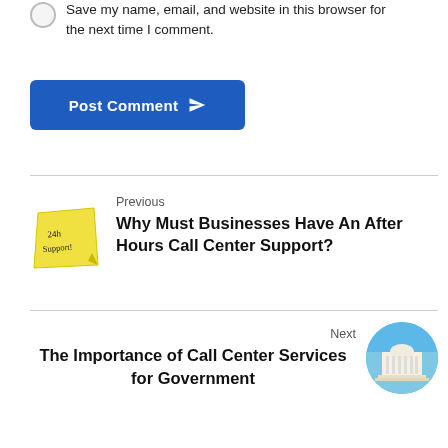Save my name, email, and website in this browser for the next time I comment.
Post Comment
Previous
Why Must Businesses Have An After Hours Call Center Support?
[Figure (illustration): Yellow sticky note with handwritten text '24h Support!']
Next
The Importance of Call Center Services for Government
[Figure (illustration): Circular image showing a government building illustration with blue background]